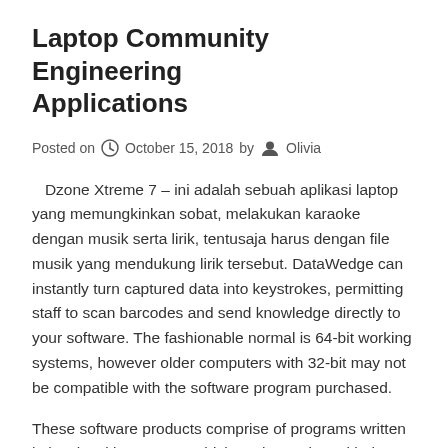Laptop Community Engineering Applications
Posted on October 15, 2018 by Olivia
Dzone Xtreme 7 – ini adalah sebuah aplikasi laptop yang memungkinkan sobat, melakukan karaoke dengan musik serta lirik, tentusaja harus dengan file musik yang mendukung lirik tersebut. DataWedge can instantly turn captured data into keystrokes, permitting staff to scan barcodes and send knowledge directly to your software. The fashionable normal is 64-bit working systems, however older computers with 32-bit may not be compatible with the software program purchased.
These software products comprise of programs written in low-level languages, which work together with the hardware at a really primary degree. Up to $250 in